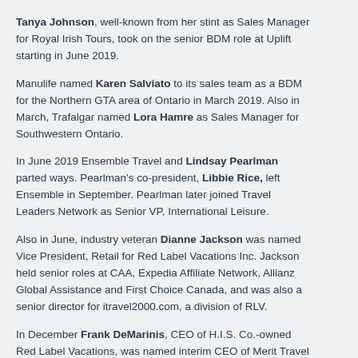Tanya Johnson, well-known from her stint as Sales Manager for Royal Irish Tours, took on the senior BDM role at Uplift starting in June 2019.
Manulife named Karen Salviato to its sales team as a BDM for the Northern GTA area of Ontario in March 2019. Also in March, Trafalgar named Lora Hamre as Sales Manager for Southwestern Ontario.
In June 2019 Ensemble Travel and Lindsay Pearlman parted ways. Pearlman's co-president, Libbie Rice, left Ensemble in September. Pearlman later joined Travel Leaders Network as Senior VP, International Leisure.
Also in June, industry veteran Dianne Jackson was named Vice President, Retail for Red Label Vacations Inc. Jackson held senior roles at CAA, Expedia Affiliate Network, Allianz Global Assistance and First Choice Canada, and was also a senior director for itravel2000.com, a division of RLV.
In December Frank DeMarinis, CEO of H.I.S. Co.-owned Red Label Vacations, was named interim CEO of Merit Travel Inc.